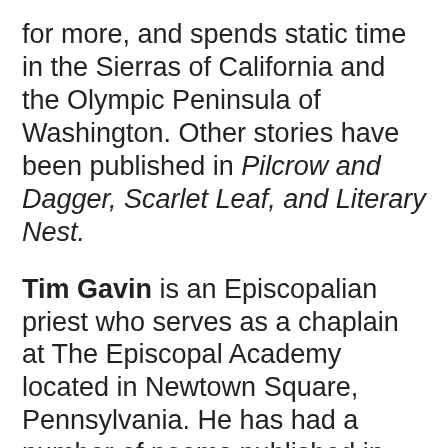for more, and spends static time in the Sierras of California and the Olympic Peninsula of Washington. Other stories have been published in Pilcrow and Dagger, Scarlet Leaf, and Literary Nest.
Tim Gavin is an Episcopalian priest who serves as a chaplain at The Episcopal Academy located in Newtown Square, Pennsylvania. He has had a number of poems published in various journals including Anglican Theological Review, Barrow Street Review, Black Bear Review, Black Water Review, Chiron Review, Mad Poets Review, Negative Capability, Poet Lore, [continues]